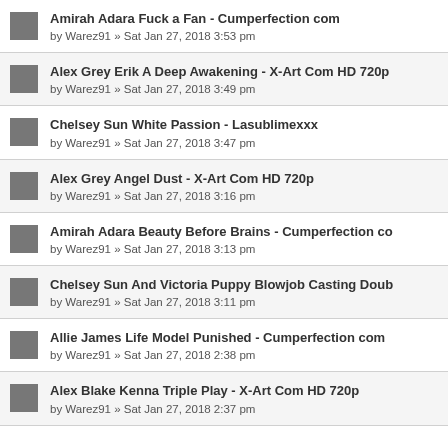Amirah Adara Fuck a Fan - Cumperfection com
by Warez91 » Sat Jan 27, 2018 3:53 pm
Alex Grey Erik A Deep Awakening - X-Art Com HD 720p
by Warez91 » Sat Jan 27, 2018 3:49 pm
Chelsey Sun White Passion - Lasublimexxx
by Warez91 » Sat Jan 27, 2018 3:47 pm
Alex Grey Angel Dust - X-Art Com HD 720p
by Warez91 » Sat Jan 27, 2018 3:16 pm
Amirah Adara Beauty Before Brains - Cumperfection co
by Warez91 » Sat Jan 27, 2018 3:13 pm
Chelsey Sun And Victoria Puppy Blowjob Casting Doub
by Warez91 » Sat Jan 27, 2018 3:11 pm
Allie James Life Model Punished - Cumperfection com
by Warez91 » Sat Jan 27, 2018 2:38 pm
Alex Blake Kenna Triple Play - X-Art Com HD 720p
by Warez91 » Sat Jan 27, 2018 2:37 pm